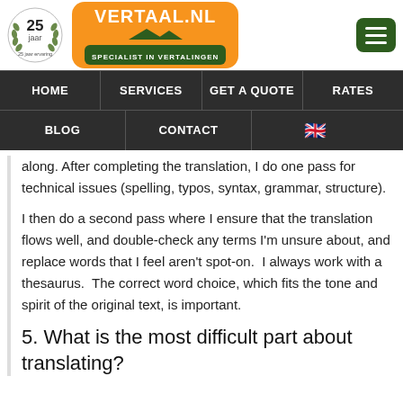[Figure (logo): Vertaal.nl website header with 25 jaar ervaring badge, orange Vertaal.nl logo with green specialist in vertalingen bar, and hamburger menu icon]
HOME | SERVICES | GET A QUOTE | RATES | BLOG | CONTACT | [UK flag]
along. After completing the translation, I do one pass for technical issues (spelling, typos, syntax, grammar, structure).
I then do a second pass where I ensure that the translation flows well, and double-check any terms I'm unsure about, and replace words that I feel aren't spot-on.  I always work with a thesaurus.  The correct word choice, which fits the tone and spirit of the original text, is important.
5. What is the most difficult part about translating?